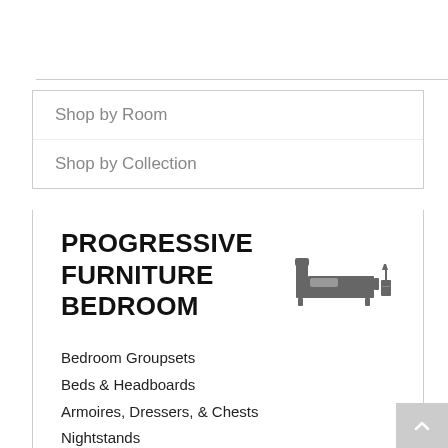Shop by Room
Shop by Collection
PROGRESSIVE FURNITURE BEDROOM
[Figure (illustration): Gray icon of a bedroom bed with headboard and nightstand]
Bedroom Groupsets
Beds & Headboards
Armoires, Dressers, & Chests
Nightstands
Vanity Tables & Mirrors